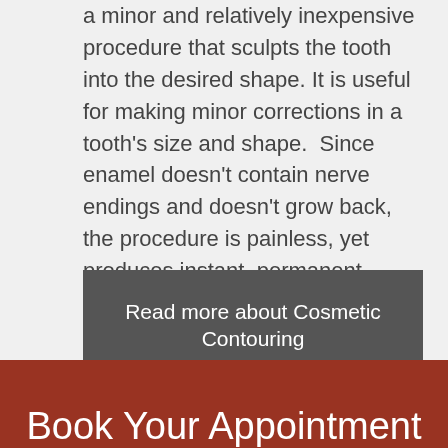a minor and relatively inexpensive procedure that sculpts the tooth into the desired shape. It is useful for making minor corrections in a tooth's size and shape.  Since enamel doesn't contain nerve endings and doesn't grow back, the procedure is painless, yet produces instant, permanent results.
Read more about Cosmetic Contouring
Book Your Appointment